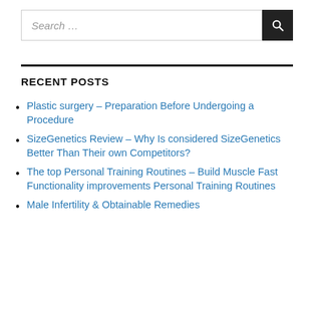[Figure (screenshot): Search input box with placeholder text 'Search ...' and a dark search button with magnifying glass icon]
RECENT POSTS
Plastic surgery – Preparation Before Undergoing a Procedure
SizeGenetics Review – Why Is considered SizeGenetics Better Than Their own Competitors?
The top Personal Training Routines – Build Muscle Fast Functionality improvements Personal Training Routines
Male Infertility & Obtainable Remedies